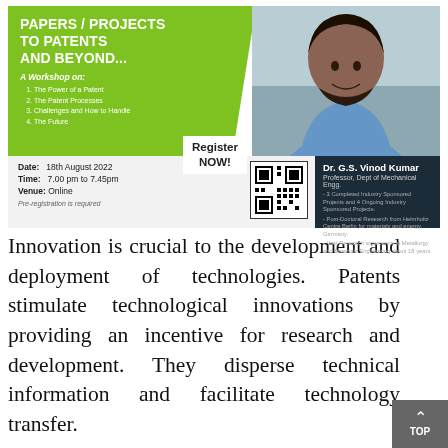[Figure (infographic): Workshop flyer for 'Papers / Projects to Patents and Beyond...' event. Green and dark blue design with photo of Dr. G.S. Vinod Kumar. Includes workshop topics, date/time/venue, QR code, and speaker info.]
Innovation is crucial to the development and deployment of technologies. Patents stimulate technological innovations by providing an incentive for research and development. They disperse technical information and facilitate technology transfer.